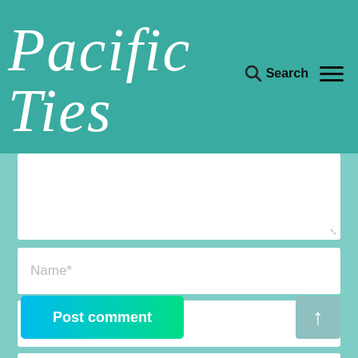Pacific Ties
[Figure (screenshot): Website comment form with fields for Name, Email, Website, a textarea, a save-info checkbox, and a Post comment button. Header shows 'Pacific Ties' logo in white script on teal background with Search and hamburger menu icons.]